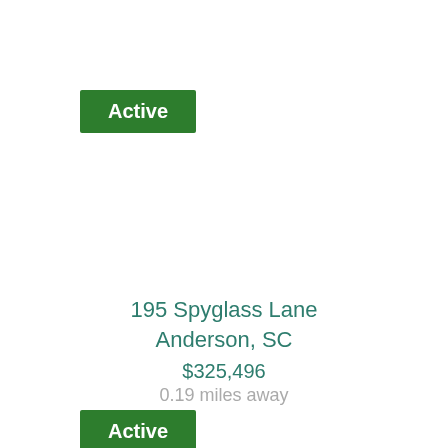Active
195 Spyglass Lane
Anderson, SC
$325,496
0.19 miles away
Active